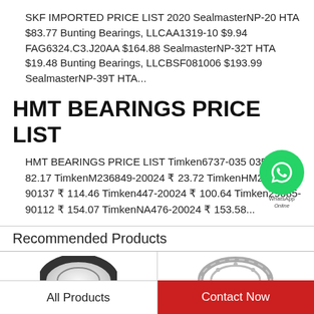SKF IMPORTED PRICE LIST 2020 SealmasterNP-20 HTA $83.77 Bunting Bearings, LLCAA1319-10 $9.94 FAG6324.C3.J20AA $164.88 SealmasterNP-32T HTA $19.48 Bunting Bearings, LLCBSF081006 $193.99 SealmasterNP-39T HTA...
HMT BEARINGS PRICE LIST
HMT BEARINGS PRICE LIST Timken6737-035 ₹ 82.17 TimkenM236849-20024 ₹ 23.72 TimkenHM237535-90137 ₹ 114.46 Timken447-20024 ₹ 100.64 Timken29685-90112 ₹ 154.07 TimkenNA476-20024 ₹ 153.58...
Recommended Products
[Figure (photo): Bearing product image - left, partial circular bearing]
[Figure (photo): Bearing product image - right, partial circular bearing]
All Products
Contact Now